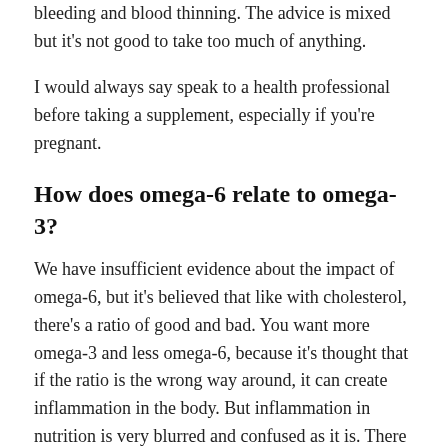bleeding and blood thinning. The advice is mixed but it's not good to take too much of anything.
I would always say speak to a health professional before taking a supplement, especially if you're pregnant.
How does omega-6 relate to omega-3?
We have insufficient evidence about the impact of omega-6, but it's believed that like with cholesterol, there's a ratio of good and bad. You want more omega-3 and less omega-6, because it's thought that if the ratio is the wrong way around, it can create inflammation in the body. But inflammation in nutrition is very blurred and confused as it is. There is no miracle food that you can eat and suddenly expect to have no inflammation in your body.
We spoke to Rhiannon Lambert around the launch of the Nutri